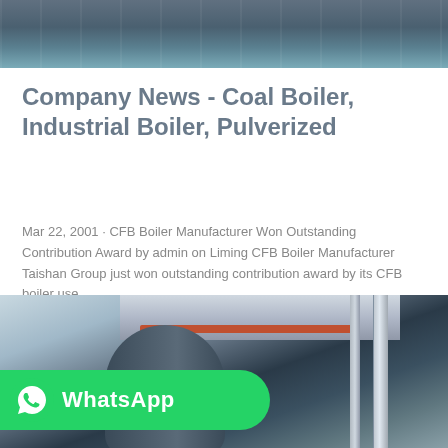[Figure (photo): Industrial boiler facility interior, top crop showing ceiling and equipment]
Company News - Coal Boiler, Industrial Boiler, Pulverized
Mar 22, 2001 · CFB Boiler Manufacturer Won Outstanding Contribution Award by admin on Liming CFB Boiler Manufacturer Taishan Group just won outstanding contribution award by its CFB boiler use...
[Figure (screenshot): Get Price button — cyan/teal rounded rectangle with white text]
[Figure (photo): Industrial boiler room with large cylindrical boiler, pipes, and ceiling infrastructure]
[Figure (logo): WhatsApp badge with green background, white WhatsApp icon and bold white WhatsApp text]